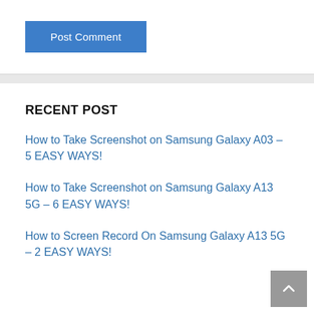[Figure (screenshot): Blue 'Post Comment' button with white text on white background]
RECENT POST
How to Take Screenshot on Samsung Galaxy A03 – 5 EASY WAYS!
How to Take Screenshot on Samsung Galaxy A13 5G – 6 EASY WAYS!
How to Screen Record On Samsung Galaxy A13 5G – 2 EASY WAYS!